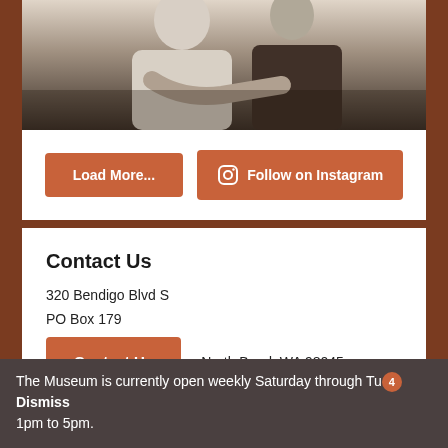[Figure (photo): Black and white photo showing people, partially visible torsos and hands]
Load More...
Follow on Instagram
Contact Us
320 Bendigo Blvd S
PO Box 179
Contact Us
North Bend, WA 98045
The Museum is currently open weekly Saturday through Tuesday 1pm to 5pm. Dismiss